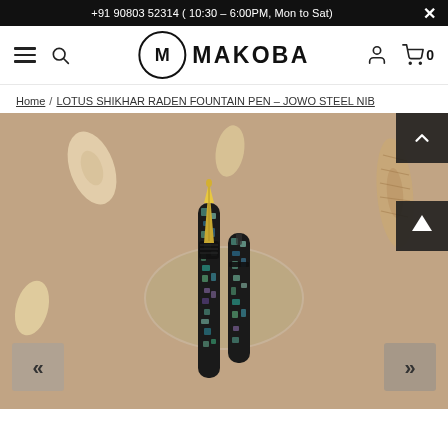+91 90803 52314 ( 10:30 – 6:00PM, Mon to Sat)
[Figure (logo): MAKOBA brand logo with M in a circle]
Home / LOTUS SHIKHAR RADEN FOUNTAIN PEN – JOWO STEEL NIB
[Figure (photo): Product photo of Lotus Shikhar Raden Fountain Pen with gold nib and black mother-of-pearl inlay body, displayed on sandy rock with seashells on brown background]